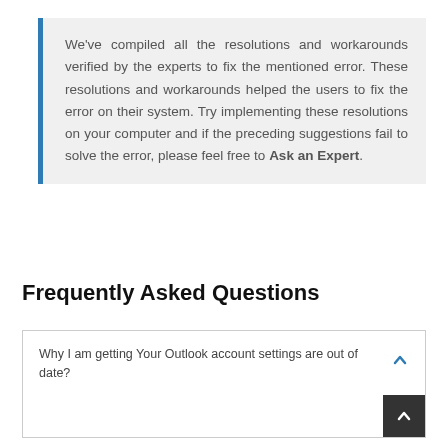We've compiled all the resolutions and workarounds verified by the experts to fix the mentioned error. These resolutions and workarounds helped the users to fix the error on their system. Try implementing these resolutions on your computer and if the preceding suggestions fail to solve the error, please feel free to Ask an Expert.
Frequently Asked Questions
Why I am getting Your Outlook account settings are out of date?